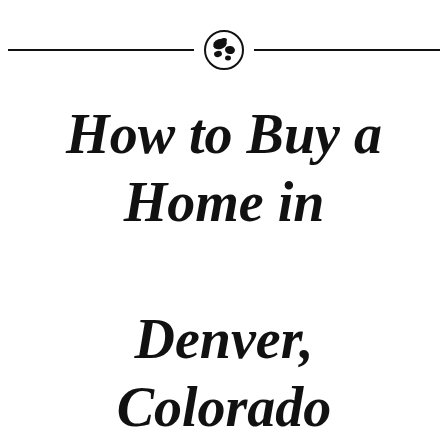[Figure (illustration): Globe icon with decorative horizontal lines on either side, centered at top of page]
How to Buy a Home in Denver, Colorado